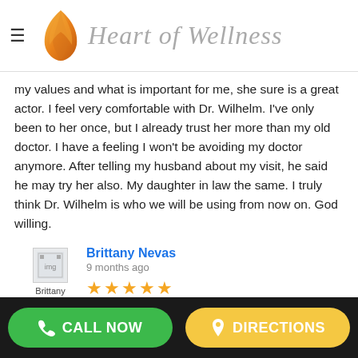[Figure (logo): Heart of Wellness logo with orange leaf/flame icon and italic gray script text]
my values and what is important for me, she sure is a great actor. I feel very comfortable with Dr. Wilhelm. I've only been to her once, but I already trust her more than my old doctor. I have a feeling I won't be avoiding my doctor anymore. After telling my husband about my visit, he said he may try her also. My daughter in law the same. I truly think Dr. Wilhelm is who we will be using from now on. God willing.
Brittany Nevas
9 months ago
★★★★★ Everyone at this clinic is absolutely helpful. I brought my daughter in, who is 3, and had no issues at all. Everyone tried to make her and me feel as comfortable as possible, rescheduling was so easy, and the woman working in the lab was absolutely spectacular! She
CALL NOW    DIRECTIONS